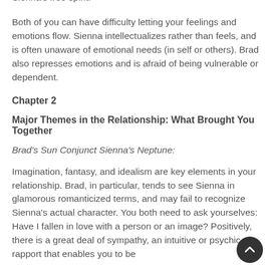dedicated, and committed, and may not fully appreciate Sienna's free spirit.
Both of you can have difficulty letting your feelings and emotions flow. Sienna intellectualizes rather than feels, and is often unaware of emotional needs (in self or others). Brad also represses emotions and is afraid of being vulnerable or dependent.
Chapter 2
Major Themes in the Relationship: What Brought You Together
Brad's Sun Conjunct Sienna's Neptune:
Imagination, fantasy, and idealism are key elements in your relationship. Brad, in particular, tends to see Sienna in glamorous romanticized terms, and may fail to recognize Sienna's actual character. You both need to ask yourselves: Have I fallen in love with a person or an image? Positively, there is a great deal of sympathy, an intuitive or psychic rapport that enables you to be